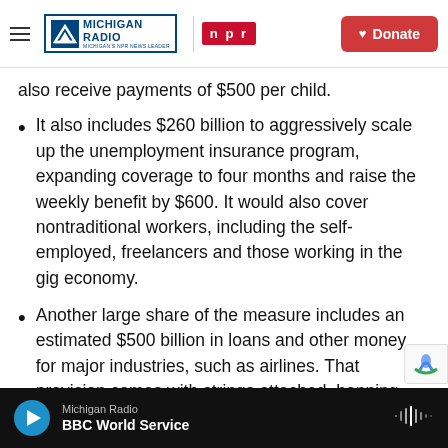Michigan Radio | NPR — Donate
also receive payments of $500 per child.
It also includes $260 billion to aggressively scale up the unemployment insurance program, expanding coverage to four months and raise the weekly benefit by $600. It would also cover nontraditional workers, including the self-employed, freelancers and those working in the gig economy.
Another large share of the measure includes an estimated $500 billion in loans and other money for major industries, such as airlines. That provision comes with strings attached, banning use of t
Michigan Radio — BBC World Service